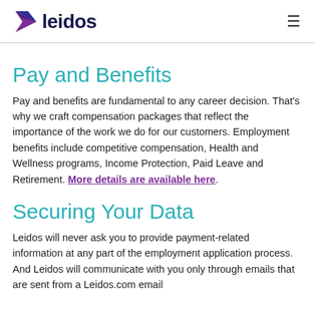leidos
Pay and Benefits
Pay and benefits are fundamental to any career decision. That's why we craft compensation packages that reflect the importance of the work we do for our customers. Employment benefits include competitive compensation, Health and Wellness programs, Income Protection, Paid Leave and Retirement. More details are available here.
Securing Your Data
Leidos will never ask you to provide payment-related information at any part of the employment application process. And Leidos will communicate with you only through emails that are sent from a Leidos.com email